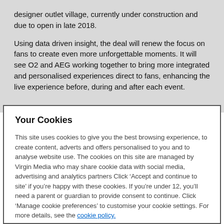designer outlet village, currently under construction and due to open in late 2018.
Using data driven insight, the deal will renew the focus on fans to create even more unforgettable moments.  It will see O2 and AEG working together to bring more integrated and personalised experiences direct to fans, enhancing the live experience before, during and after each event.
Your Cookies
This site uses cookies to give you the best browsing experience, to create content, adverts and offers personalised to you and to analyse website use. The cookies on this site are managed by Virgin Media who may share cookie data with social media, advertising and analytics partners Click ‘Accept and continue to site’ if you’re happy with these cookies. If you’re under 12, you’ll need a parent or guardian to provide consent to continue. Click ‘Manage cookie preferences’ to customise your cookie settings. For more details, see the cookie policy.